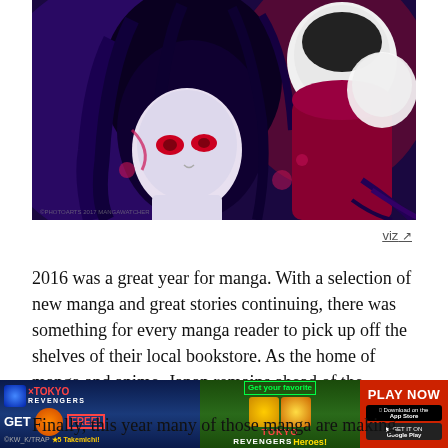[Figure (illustration): Manga/anime style illustration with dark-haired character with red eyes in foreground, and figures in red/magenta costume in dark blue/purple background]
viz ↗
2016 was a great year for manga. With a selection of new manga and great stories continuing, there was something for every manga reader to pick up off the shelves of their local bookstore. As the home of manga and anime, Japan remains ahead of the Western market. As a result, there have been
[Figure (screenshot): Advertisement banner for Tokyo Revengers mobile game with Play Now button, Get Free, Get your favorite Heroes, App Store and Google Play buttons]
Finally, this year many of those manga are making